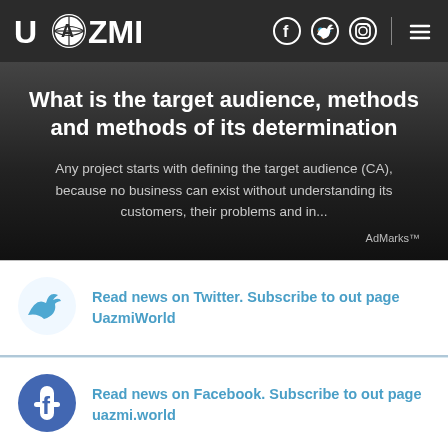UAZMI
What is the target audience, methods and methods of its determination
Any project starts with defining the target audience (CA), because no business can exist without understanding its customers, their problems and in...
AdMarks™
Read news on Twitter. Subscribe to out page UazmiWorld
Read news on Facebook. Subscribe to out page uazmi.world